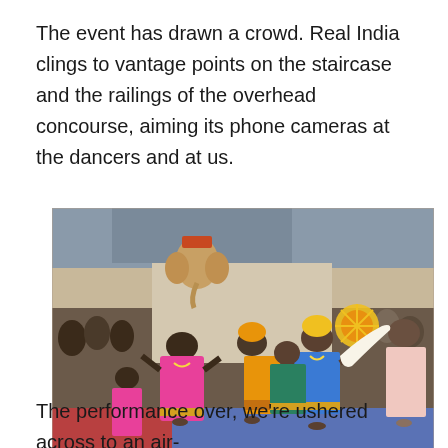The event has drawn a crowd. Real India clings to vantage points on the staircase and the railings of the overhead concourse, aiming its phone cameras at the dancers and at us.
[Figure (photo): Indian traditional dancers in colorful costumes (pink, blue, gold) performing on a blue/red mat stage inside a building, with a crowd watching in the background. One performer wears a large Ganesh elephant head mask.]
Camping it up.
The performance over, we're ushered across to an air-